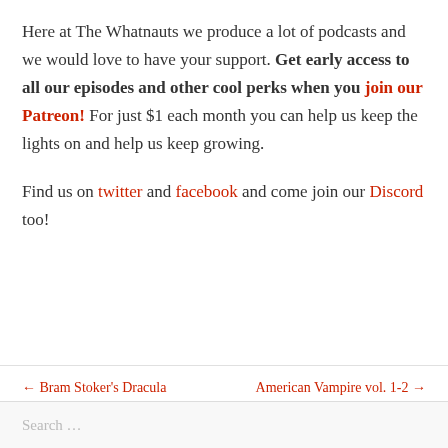Here at The Whatnauts we produce a lot of podcasts and we would love to have your support. Get early access to all our episodes and other cool perks when you join our Patreon! For just $1 each month you can help us keep the lights on and help us keep growing.
Find us on twitter and facebook and come join our Discord too!
← Bram Stoker's Dracula    American Vampire vol. 1-2 →